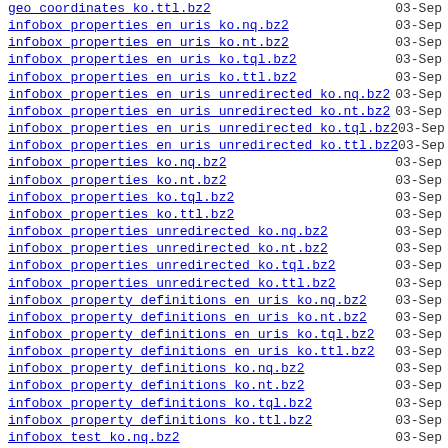geo_coordinates_ko.ttl.bz2   03-Sep
infobox_properties_en_uris_ko.nq.bz2   03-Sep
infobox_properties_en_uris_ko.nt.bz2   03-Sep
infobox_properties_en_uris_ko.tql.bz2   03-Sep
infobox_properties_en_uris_ko.ttl.bz2   03-Sep
infobox_properties_en_uris_unredirected_ko.nq.bz2   03-Sep
infobox_properties_en_uris_unredirected_ko.nt.bz2   03-Sep
infobox_properties_en_uris_unredirected_ko.tql.bz2   03-Sep
infobox_properties_en_uris_unredirected_ko.ttl.bz2   03-Sep
infobox_properties_ko.nq.bz2   03-Sep
infobox_properties_ko.nt.bz2   03-Sep
infobox_properties_ko.tql.bz2   03-Sep
infobox_properties_ko.ttl.bz2   03-Sep
infobox_properties_unredirected_ko.nq.bz2   03-Sep
infobox_properties_unredirected_ko.nt.bz2   03-Sep
infobox_properties_unredirected_ko.tql.bz2   03-Sep
infobox_properties_unredirected_ko.ttl.bz2   03-Sep
infobox_property_definitions_en_uris_ko.nq.bz2   03-Sep
infobox_property_definitions_en_uris_ko.nt.bz2   03-Sep
infobox_property_definitions_en_uris_ko.tql.bz2   03-Sep
infobox_property_definitions_en_uris_ko.ttl.bz2   03-Sep
infobox_property_definitions_ko.nq.bz2   03-Sep
infobox_property_definitions_ko.nt.bz2   03-Sep
infobox_property_definitions_ko.tql.bz2   03-Sep
infobox_property_definitions_ko.ttl.bz2   03-Sep
infobox_test_ko.nq.bz2   03-Sep
infobox_test_ko.nt.bz2   03-Sep
infobox_test_ko.tql.bz2   03-Sep
infobox_test_ko.ttl.bz2   03-Sep
instance_types_en_uris_ko.nq.bz2   03-Sep